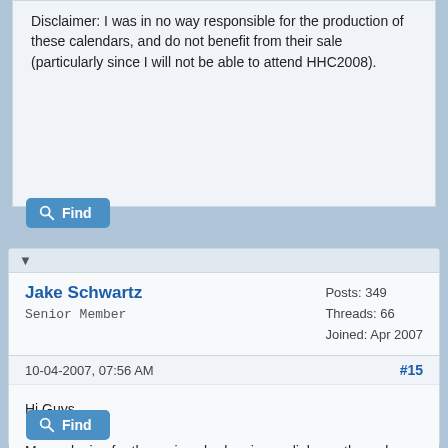Disclaimer: I was in no way responsible for the production of these calendars, and do not benefit from their sale (particularly since I will not be able to attend HHC2008).
Find
▼
Jake Schwartz
Senior Member
Posts: 349
Threads: 66
Joined: Apr 2007
10-04-2007, 07:56 AM
#15
Hi Guys,

My apologies for the various broken image links on the web page. They should be all fixed now. It was late last night when it was initially posted.

Jake
Find